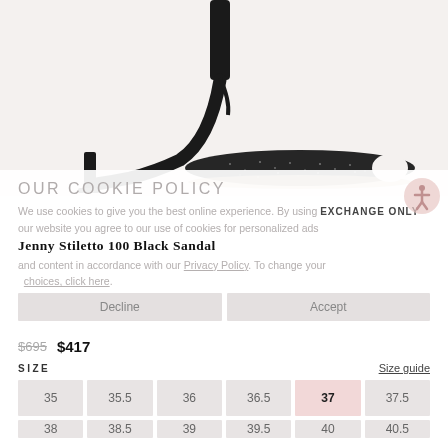[Figure (photo): Black stiletto sandal heel on white/light grey background, side profile showing ankle strap, glitter toe strap, and high stiletto heel]
OUR COOKIE POLICY
We use cookies to give you the best online experience. By using our website you agree to our use of cookies for personalized ads and content in accordance with our Privacy Policy. To change your choices, click here.
EXCHANGE ONLY
Jenny Stiletto 100 Black Sandal
$695  $417
SIZE
Size guide
35  35.5  36  36.5  37  37.5
38  38.5  39  39.5  40  40.5